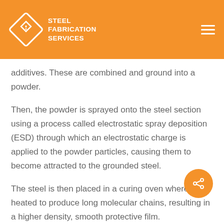STEEL FABRICATION SERVICES
additives. These are combined and ground into a powder.
Then, the powder is sprayed onto the steel section using a process called electrostatic spray deposition (ESD) through which an electrostatic charge is applied to the powder particles, causing them to become attracted to the grounded steel.
The steel is then placed in a curing oven where it is heated to produce long molecular chains, resulting in a higher density, smooth protective film.
Don't be a Sid the Sloth, for more information